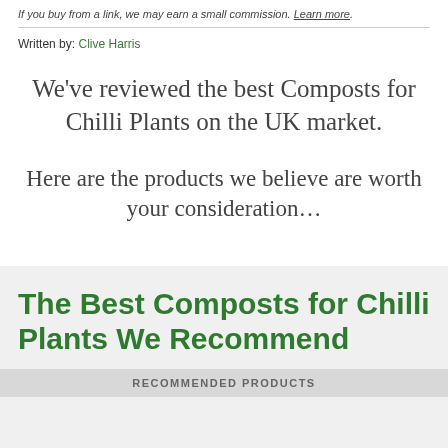If you buy from a link, we may earn a small commission. Learn more.
Written by: Clive Harris
We've reviewed the best Composts for Chilli Plants on the UK market.
Here are the products we believe are worth your consideration…
The Best Composts for Chilli Plants We Recommend
RECOMMENDED PRODUCTS